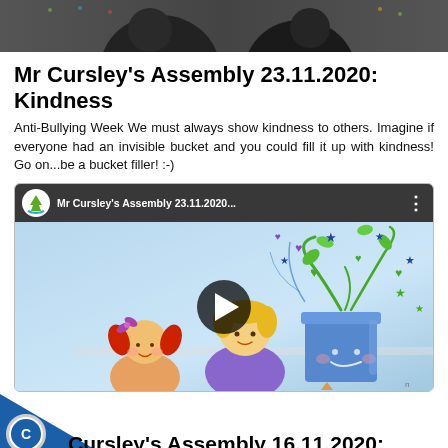[Figure (photo): Top portion of a photo showing people, partially cropped, dark background with Christmas lights visible]
Mr Cursley's Assembly 23.11.2020: Kindness
Anti-Bullying Week We must always show kindness to others. Imagine if everyone had an invisible bucket and you could fill it up with kindness! Go on...be a bucket filler! :-)
[Figure (screenshot): YouTube video embed showing Mr Cursley's Assembly 23.11.2020 with cartoon children and a bucket filled with hearts and stars]
Mr Cursley's Assembly 16.11.2020: